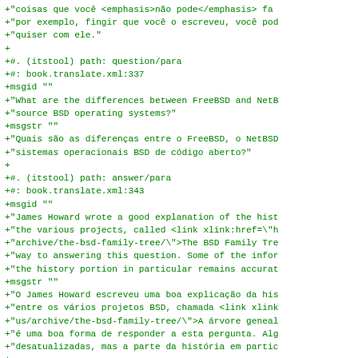Code diff content showing localization/translation file changes for FreeBSD documentation in Portuguese